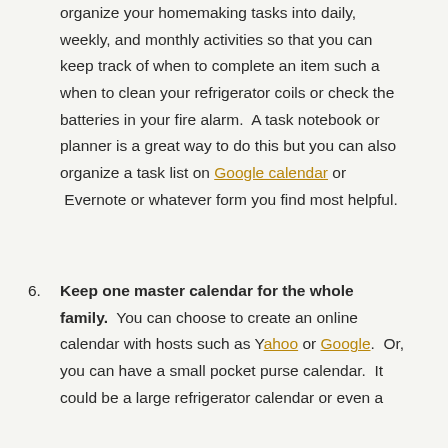organize your homemaking tasks into daily, weekly, and monthly activities so that you can keep track of when to complete an item such a when to clean your refrigerator coils or check the batteries in your fire alarm.  A task notebook or planner is a great way to do this but you can also organize a task list on Google calendar or Evernote or whatever form you find most helpful.
6. Keep one master calendar for the whole family.  You can choose to create an online calendar with hosts such as Yahoo or Google.  Or, you can have a small pocket purse calendar.  It could be a large refrigerator calendar or even a